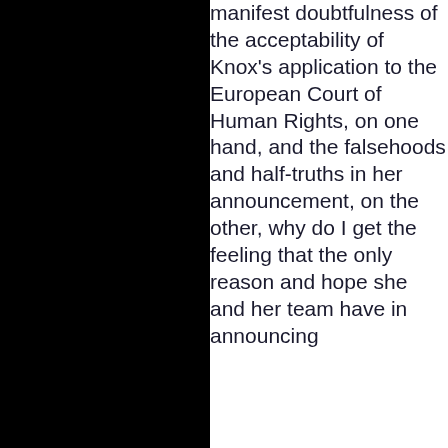manifest doubtfulness of the acceptability of Knox's application to the European Court of Human Rights, on one hand, and the falsehoods and half-truths in her announcement, on the other, why do I get the feeling that the only reason and hope she and her team have in announcing